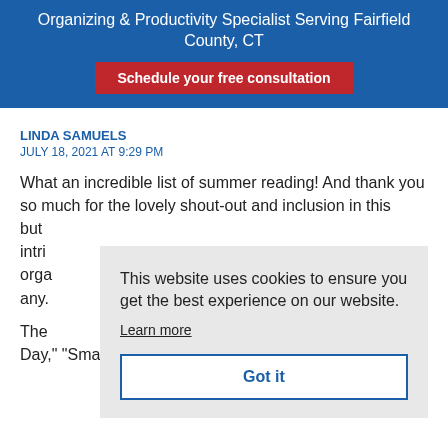Organizing & Productivity Specialist Serving Fairfield County, CT
Schedule your free consultation
LINDA SAMUELS
JULY 18, 2021 AT 9:29 PM
What an incredible list of summer reading! And thank you so much for the lovely shout-out and inclusion in this but intri orga any.
[Figure (screenshot): Cookie consent dialog overlay showing text 'This website uses cookies to ensure you get the best experience on our website.' with a 'Learn more' link and 'Got it' button]
The Day," "Small Changes," "Compassionate Conversations,"